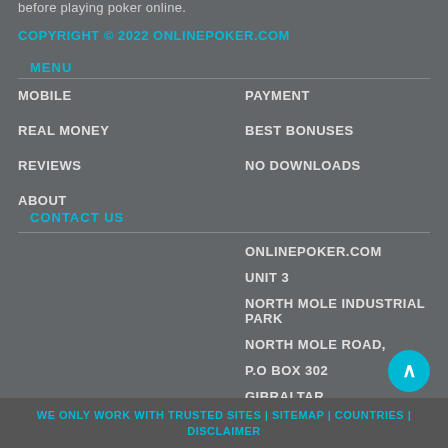before playing poker online.
COPYRIGHT © 2022 ONLINEPOKER.COM
MENU
MOBILE
REAL MONEY
REVIEWS
ABOUT
PAYMENT
BEST BONUSES
NO DOWNLOADS
CONTACT US
ONLINEPOKER.COM
UNIT 3
NORTH MOLE INDUSTRIAL PARK
NORTH MOLE ROAD,
P.O BOX 302
GIBRALTAR
GX11 1AA
WE ONLY WORK WITH TRUSTED SITES | SITEMAP | COUNTRIES | DISCLAIMER